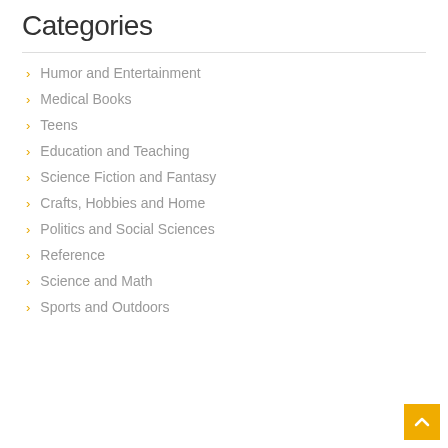Categories
Humor and Entertainment
Medical Books
Teens
Education and Teaching
Science Fiction and Fantasy
Crafts, Hobbies and Home
Politics and Social Sciences
Reference
Science and Math
Sports and Outdoors